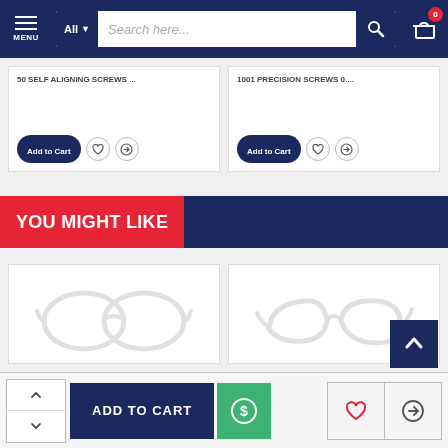[Figure (screenshot): E-commerce website navigation bar with MENU button, All dropdown, search bar with 'Search here...' placeholder, search icon, and cart icon with badge showing 0]
50 SELF ALIGNING SCREWS ...
1001 PRECISION SCREWS 0....
YOU MIGHT LIKE
[Figure (photo): White rectangular eyeglasses frame on white background]
[Figure (photo): White cat-eye eyeglasses frame on white background]
ADD TO CART